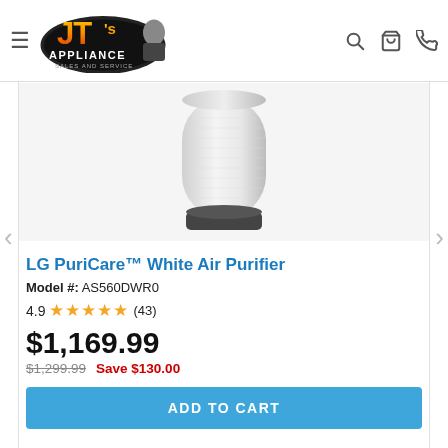[Figure (logo): JT's Appliance Sales and Service logo with cartoon mascot]
[Figure (photo): LG PuriCare white cylindrical air purifier product image]
LG PuriCare™ White Air Purifier
Model #: AS560DWR0
4.9 ★★★★★ (43)
$1,169.99
$1,299.99  Save $130.00
ADD TO CART